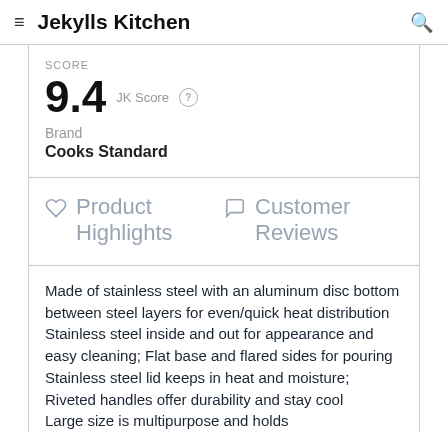Jekylls Kitchen
SCORE
9.4 JK Score
Brand
Cooks Standard
Product Highlights   Customer Reviews
Made of stainless steel with an aluminum disc bottom between steel layers for even/quick heat distribution
Stainless steel inside and out for appearance and easy cleaning; Flat base and flared sides for pouring
Stainless steel lid keeps in heat and moisture; Riveted handles offer durability and stay cool
Large size is multipurpose and holds